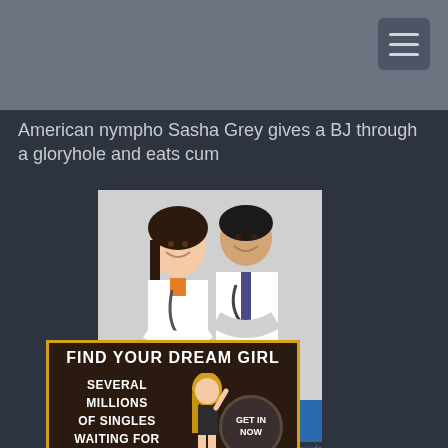American nympho Sasha Grey gives a BJ through a gloryhole and eats cum
[Figure (advertisement): Advertisement showing two doctors in white lab coats smiling, with a 'LEARN MORE!' button in blue below. Ad attribution text in blue.]
[Figure (advertisement): Dating site ad with dark brown background and gold border. Header: 'FIND YOUR DREAM GIRL'. Body text: 'SEVERAL MILLIONS OF SINGLES WAITING FOR THE RIGHT MAN'. Shows a blonde woman and a circular badge 'GET IN NOW'.]